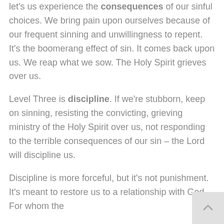let's us experience the consequences of our sinful choices. We bring pain upon ourselves because of our frequent sinning and unwillingness to repent. It's the boomerang effect of sin. It comes back upon us. We reap what we sow. The Holy Spirit grieves over us.
Level Three is discipline. If we're stubborn, keep on sinning, resisting the convicting, grieving ministry of the Holy Spirit over us, not responding to the terrible consequences of our sin – the Lord will discipline us.
Discipline is more forceful, but it's not punishment. It's meant to restore us to a relationship with God. For whom the